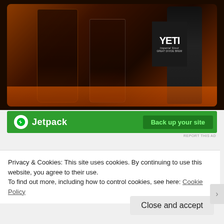[Figure (photo): Photo of two dark beer glasses and a bottle of Great Divide Yeti Imperial Stout on a wooden table surface]
[Figure (infographic): Jetpack advertisement banner: green background with Jetpack logo and 'Back up your site' button]
REPORT THIS AD
Privacy & Cookies: This site uses cookies. By continuing to use this website, you agree to their use.
To find out more, including how to control cookies, see here: Cookie Policy
Close and accept